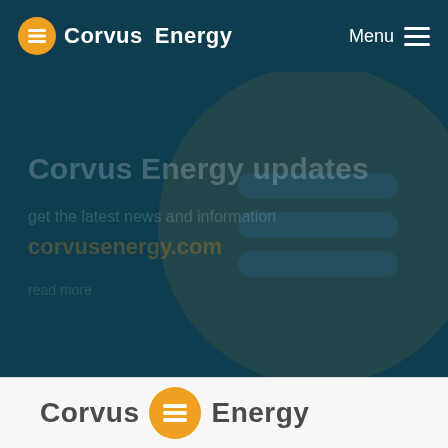Corvus Energy — Menu
[Figure (illustration): Dark teal hero section with faded 'Corvus Energy updates' heading and subtitle text partially visible, with Corvus Energy logo-style circle icon watermark in background]
[Figure (logo): Corvus Energy logo in dark grey text with orange circular icon containing horizontal lines between the words Corvus and Energy]